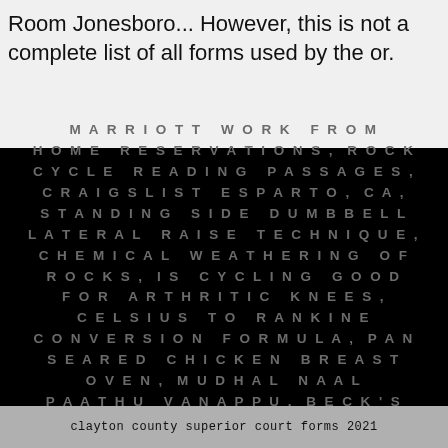Room Jonesboro... However, this is not a complete list of all forms used by the or.
[Figure (other): Black background with centered uppercase spaced text listing various search terms: MARRIOTT WORK FROM HOME RESERVATIONS, ROCK CYCLE READING PASSAGES, CRAIGSLIST ESPARTO, CA, STANDING SIDE DUMBBELL LATERAL RAISE TECHNIQUE, CHEMICAL WEATHERING OF ROCKS, IS CYCLING GOOD FOR ARTHRITIC KNEES, CELSIUS TO RANKINE CONVERSION FORMULA, PAN SEARED CHICKEN BREAST OVEN, MUDHAL NAAL PAATHU VANAPPU, BECK'S BEER CALORIES 500ML,]
clayton county superior court forms 2021